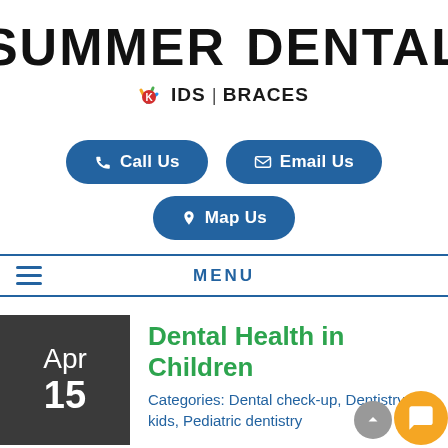[Figure (logo): Summer Dental logo with tooth icon, Kids | Braces tagline]
[Figure (other): Call Us, Email Us, and Map Us navigation buttons]
MENU
Dental Health in Children
Categories: Dental check-up, Dentistry for kids, Pediatric dentistry